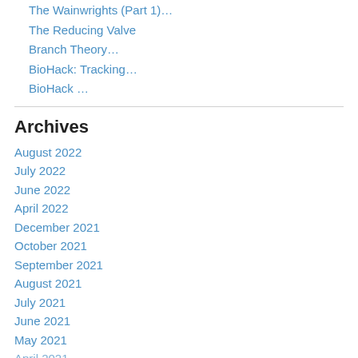The Wainwrights (Part 1)…
The Reducing Valve
Branch Theory…
BioHack: Tracking…
BioHack …
Archives
August 2022
July 2022
June 2022
April 2022
December 2021
October 2021
September 2021
August 2021
July 2021
June 2021
May 2021
April 2021